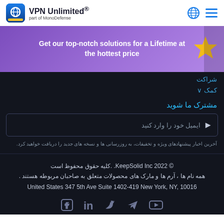VPN Unlimited® part of MonoDefense
[Figure (infographic): Purple gradient banner with bold white text: 'Get our top-notch solutions for a Lifetime at the hottest price' and a starfish decoration on the right]
شراکت
کمک ∨
مشترک ما شوید
ایمیل خود را وارد کنید
آخرین اخبار پیشنهادهای ویژه و تخفیفات، به روزرسانی ها و نسخه های جدید را دریافت خواهید کرد.
© 2022 KeepSolid Inc. .کلیه حقوق محفوظ است
همه نام ها ، آرم ها و مارک های محصولات متعلق به صاحبان مربوطه هستند .
United States 347 5th Ave Suite 1402-419 New York, NY, 10016